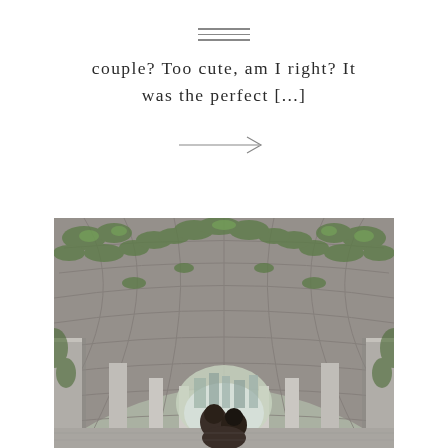[Figure (other): Three horizontal lines forming a menu/hamburger icon]
couple? Too cute, am I right? It was the perfect [...]
[Figure (other): A right-pointing arrow]
[Figure (photo): A couple standing under a grand stone arched pergola covered with green ivy and climbing plants, photographed from below looking through the barrel-vaulted tunnel. The architectural structure has stone ribs and columns. City buildings are visible in the background through the far arch opening.]